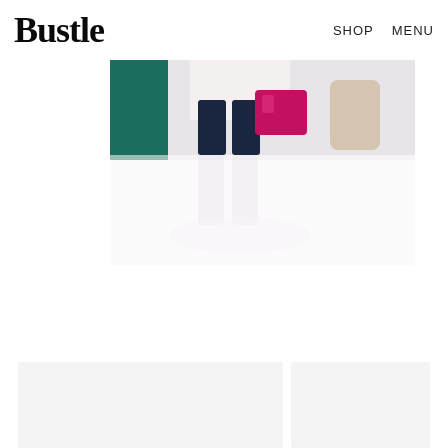Bustle  SHOP  MENU
[Figure (photo): A woman seated, wearing dark navy leggings and holding a bright magenta/pink patent leather bag, with a teal green curtain in the background and a light beige cushioned seat arm visible. The image is partially faded/washed out in lower portion showing her legs.]
[Figure (photo): Two thumbnail image placeholders at the bottom of the page, light gray background.]